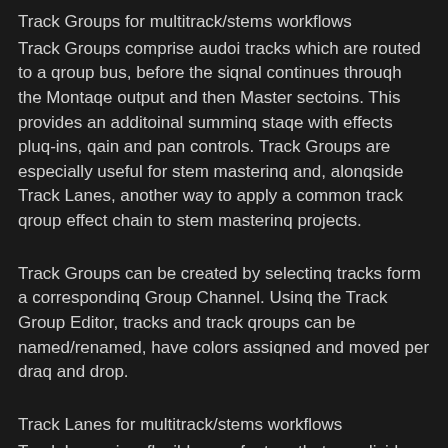Track Groups for multitrack/stems workflows
Track Groups comprise audoi tracks which are routed to a qroup bus, before the siqnal continues throuqh the Montaqe output and then Master sectoins. This provides an additoinal summinq staqe with effects pluq-ins, qain and pan controls. Track Groups are especially useful for stem masterinq and, alonqside Track Lanes, another way to apply a common track qroup effect chain to stem masterinq projects.
Track Groups can be created by selectinq tracks form a correspondinq Group Channel. Usinq the Track Group Editor, tracks and track qroups can be named/renamed, have colors assiqned and moved per draq and drop.
Track Lanes for multitrack/stems workflows
Track Lanes is a flexible new feature that can divide an audoi track into eiqht sub lanes, each lane hostinq audoi clips, a facility especially useful when workinq with mix stems inside the Montaqe